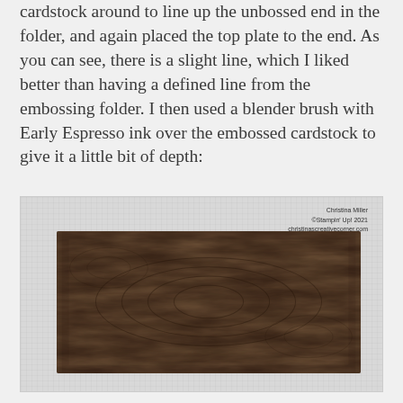cardstock around to line up the unbossed end in the folder, and again placed the top plate to the end. As you can see, there is a slight line, which I liked better than having a defined line from the embossing folder. I then used a blender brush with Early Espresso ink over the embossed cardstock to give it a little bit of depth:
[Figure (photo): A photograph of dark brown wood-grain embossed cardstock placed on a white grid/cutting mat. The cardstock is a wide horizontal rectangle with a wood grain texture in Early Espresso (dark brown) color. Watermark reads: Christina Miller, ©Stampin' Up! 2021, christinascreativecorner.com]